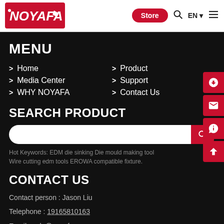NOYAFA | Store | EN | menu
MENU
> Home
> Media Center
> WHY NOYAFA
> Product
> Support
> Contact Us
SEARCH PRODUCT
Hot Keywords: EDM die sinking Die mould making tool Wire cutting edm tools EROWA compatible fixture.
CONTACT US
Contact person : Jason Liu
Telephone : 19165810163
Email : sale@noyafa.com